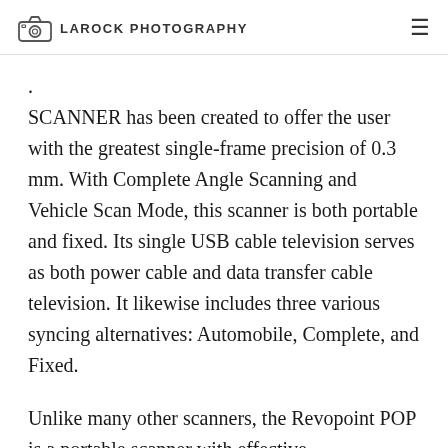LAROCK PHOTOGRAPHY
SCANNER has been created to offer the user with the greatest single-frame precision of 0.3 mm. With Complete Angle Scanning and Vehicle Scan Mode, this scanner is both portable and fixed. Its single USB cable television serves as both power cable and data transfer cable television. It likewise includes three various syncing alternatives: Automobile, Complete, and Fixed.
Unlike many other scanners, the Revopoint POP is a portable scanner with effective